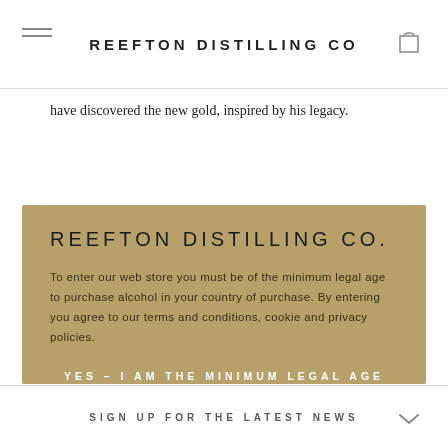REEFTON DISTILLING Co
have discovered the new gold, inspired by his legacy.
REEFTON DISTILLING CO.
To enter our web store you must be of the minimum legal age to purchase alcohol in your country of purchase. By entering you agree to our terms and conditions, cookie and privacy policies.
YES – I AM THE MINIMUM LEGAL AGE OR OVER
No – I am not of legal drinking age in my country of purchase
SIGN UP FOR THE LATEST NEWS